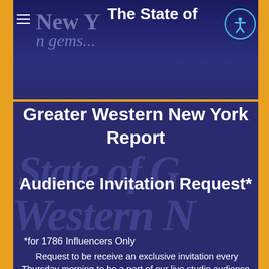The State of Greater Western New York Report
The State of
Greater Western New York Report
Audience Invitation Request*
*for 1786 Influencers Only
Request to be receive an exclusive invitation every Thursday morning to be a part of our live studio audience. You'll get a FREE gift that answers the question "What is the historical significance of